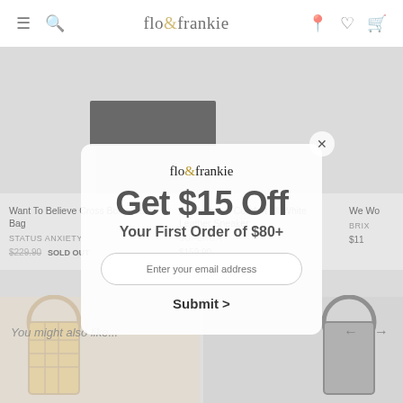flo& frankie
[Figure (screenshot): E-commerce product page for flo & frankie showing cross body bag and sneaker products with prices]
Want To Believe Cross Body Black Bag
2843 Club S Comfort All White Leather Sneaker
We Wo
STATUS ANXIETY
SUPERGA
BRIX
$229.90 SOLD OUT
$159.90
$11
You might also like...
[Figure (screenshot): Modal popup overlay: flo & frankie Get $15 Off Your First Order of $80+ with email input and Submit button]
flo& frankie
Get $15 Off
Your First Order of $80+
Enter your email address
Submit >
[Figure (photo): Bottom product images showing woven/basket style handbags]